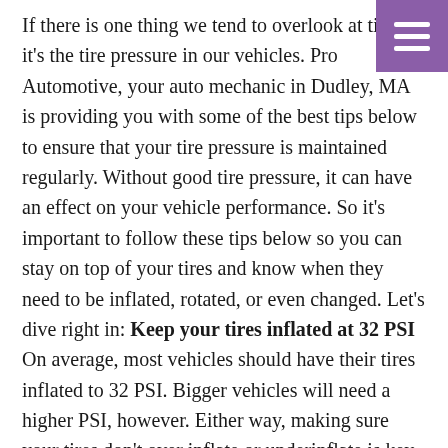If there is one thing we tend to overlook at times, it's the tire pressure in our vehicles. Pro Automotive, your auto mechanic in Dudley, MA is providing you with some of the best tips below to ensure that your tire pressure is maintained regularly. Without good tire pressure, it can have an effect on your vehicle performance. So it's important to follow these tips below so you can stay on top of your tires and know when they need to be inflated, rotated, or even changed. Let's dive right in: Keep your tires inflated at 32 PSI On average, most vehicles should have their tires inflated to 32 PSI. Bigger vehicles will need a higher PSI, however. Either way, making sure your tires don't over inflate or underinflate is key. If your tires are over or underinflated, it can affect the fuel economy and could mean more trips to the pump. That also means more money out of your pocket. Save yourself the money and make sure that your tir … read more